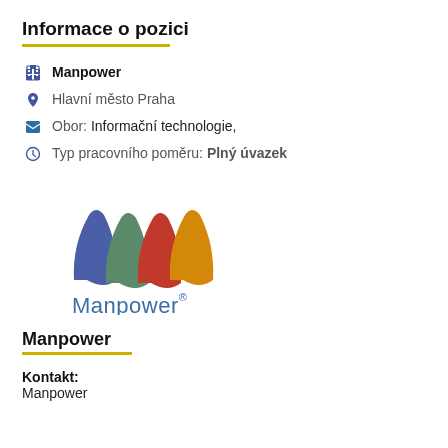Informace o pozici
Manpower
Hlavní město Praha
Obor: Informační technologie,
Typ pracovního poměru: Plný úvazek
[Figure (logo): Manpower company logo with colorful slanted bars and 'Manpower' text in blue]
Manpower
Kontakt:
Manpower